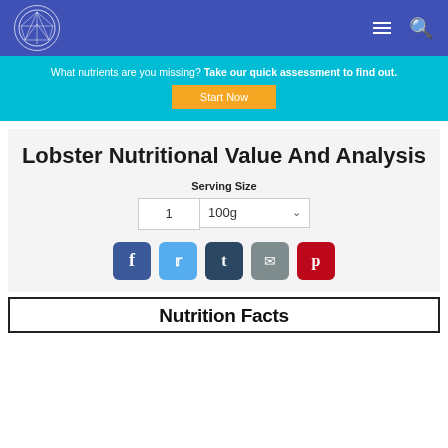Navigation bar with brain logo, hamburger menu, and search icon
What nutrients are you missing? Take our quick assessment to find out.
Start Now
Lobster Nutritional Value And Analysis
Serving Size
1  100g
[Figure (screenshot): Social share buttons: Facebook (blue), Twitter (light blue), Tumblr (dark blue), Email (gray), Pinterest (red)]
Nutrition Facts